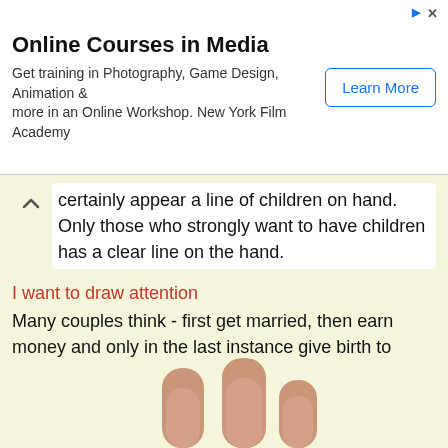[Figure (screenshot): Advertisement banner: Online Courses in Media - Get training in Photography, Game Design, Animation & more in an Online Workshop. New York Film Academy. Learn More button.]
certainly appear a line of children on hand. Only those who strongly want to have children has a clear line on the hand.
I want to draw attention
Many couples think - first get married, then earn money and only in the last instance give birth to children. Such couples are becoming without children, the reason is the karmic ban, and that is, on a subconscious level they are your own forbidden to have children.
Therefore, child necessary give birth to first of all.
[Figure (photo): Two fingers visible from bottom of page against cream background.]